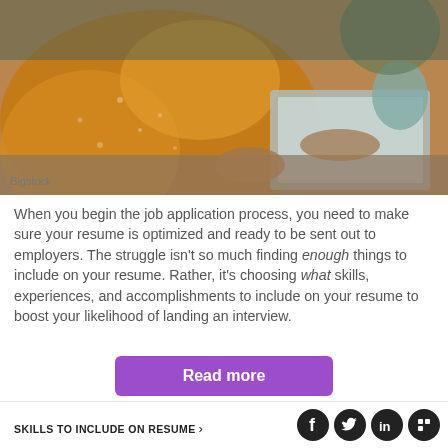[Figure (photo): Person in an orange floral blouse sitting at a desk, writing in a notebook while also using a laptop. A blue/teal mug and plant are visible in the background.]
Bigstock
When you begin the job application process, you need to make sure your resume is optimized and ready to be sent out to employers. The struggle isn't so much finding enough things to include on your resume. Rather, it's choosing what skills, experiences, and accomplishments to include on your resume to boost your likelihood of landing an interview.
Read more
SKILLS TO INCLUDE ON RESUME ›